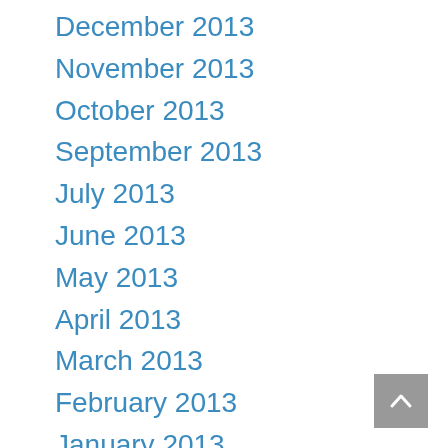December 2013
November 2013
October 2013
September 2013
July 2013
June 2013
May 2013
April 2013
March 2013
February 2013
January 2013
December 2012
November 2012
October 2012
September 2012